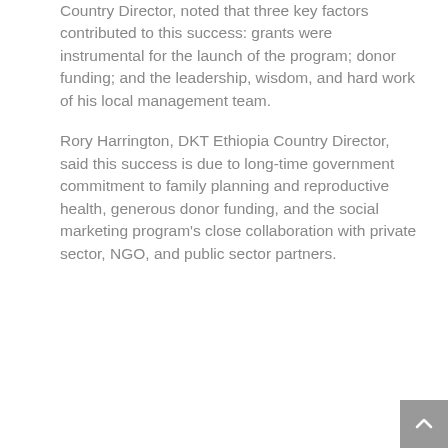Country Director, noted that three key factors contributed to this success: grants were instrumental for the launch of the program; donor funding; and the leadership, wisdom, and hard work of his local management team.
Rory Harrington, DKT Ethiopia Country Director, said this success is due to long-time government commitment to family planning and reproductive health, generous donor funding, and the social marketing program's close collaboration with private sector, NGO, and public sector partners.